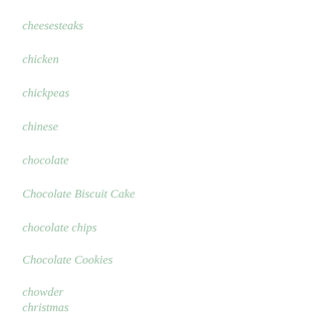cheesesteaks
chicken
chickpeas
chinese
chocolate
Chocolate Biscuit Cake
chocolate chips
Chocolate Cookies
chowder
christmas